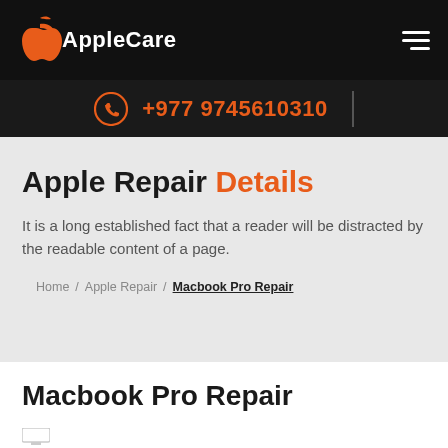AppleCare
+977 9745610310
Apple Repair Details
It is a long established fact that a reader will be distracted by the readable content of a page.
Home / Apple Repair / Macbook Pro Repair
Macbook Pro Repair